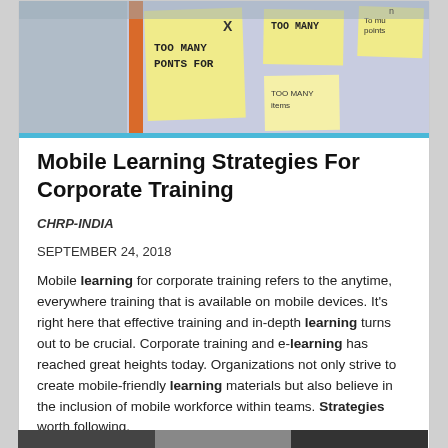[Figure (photo): Photo of sticky notes on a board with text 'TOO MANY POINTS FOR' and 'TOO MANY' written on yellow post-it notes]
Mobile Learning Strategies For Corporate Training
CHRP-INDIA
SEPTEMBER 24, 2018
Mobile learning for corporate training refers to the anytime, everywhere training that is available on mobile devices. It's right here that effective training and in-depth learning turns out to be crucial. Corporate training and e-learning has reached great heights today. Organizations not only strive to create mobile-friendly learning materials but also believe in the inclusion of mobile workforce within teams. Strategies worth following.